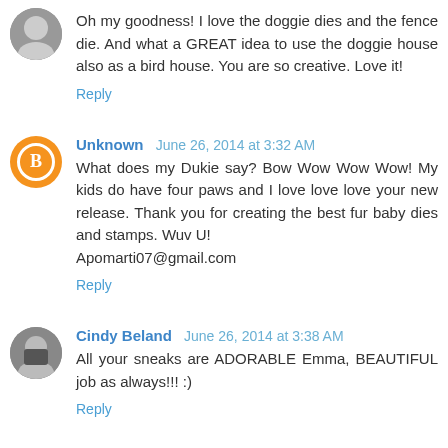[Figure (photo): Small avatar photo of a person, grayscale, top-left corner]
Oh my goodness! I love the doggie dies and the fence die. And what a GREAT idea to use the doggie house also as a bird house. You are so creative. Love it!
Reply
[Figure (illustration): Orange circle avatar with white letter B blogger icon]
Unknown June 26, 2014 at 3:32 AM
What does my Dukie say? Bow Wow Wow Wow! My kids do have four paws and I love love love your new release. Thank you for creating the best fur baby dies and stamps. Wuv U!
Apomarti07@gmail.com
Reply
[Figure (photo): Small avatar photo of Cindy Beland]
Cindy Beland June 26, 2014 at 3:38 AM
All your sneaks are ADORABLE Emma, BEAUTIFUL job as always!!! :)
Reply